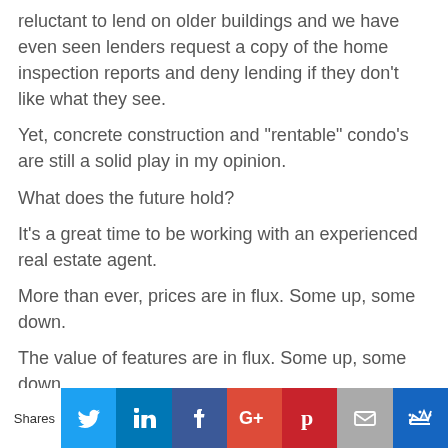reluctant to lend on older buildings and we have even seen lenders request a copy of the home inspection reports and deny lending if they don't like what they see.
Yet, concrete construction and "rentable" condo's are still a solid play in my opinion.
What does the future hold?
It's a great time to be working with an experienced real estate agent.
More than ever, prices are in flux. Some up, some down.
The value of features are in flux. Some up, some down.
The number of moving parts in a deal these days is the highest I have ever witnessed. Prices will
Shares [Twitter] [LinkedIn] [Facebook] [Google+] [Pinterest] [Email] [Crown]